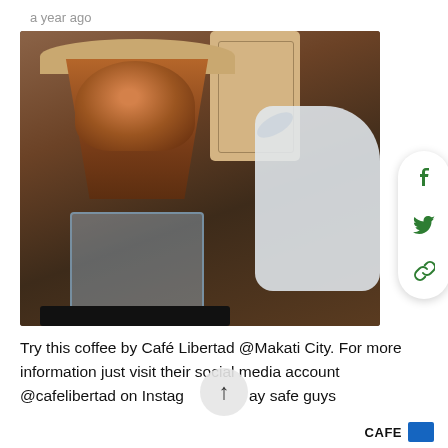a year ago
[Figure (photo): Pour-over coffee dripper with coffee grounds on a glass carafe, white kettle in background, and a kraft paper coffee bag. Social share panel (Facebook, Twitter, link) visible on the right side.]
Try this coffee by Café Libertad @Makati City. For more information just visit their social media account @cafelibertad on Instagram. Stay safe guys
CAFE